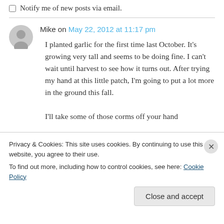Notify me of new posts via email.
Mike on May 22, 2012 at 11:17 pm
I planted garlic for the first time last October. It's growing very tall and seems to be doing fine. I can't wait until harvest to see how it turns out. After trying my hand at this little patch, I'm going to put a lot more in the ground this fall. I'll take some of those corms off your hand
Privacy & Cookies: This site uses cookies. By continuing to use this website, you agree to their use. To find out more, including how to control cookies, see here: Cookie Policy
Close and accept